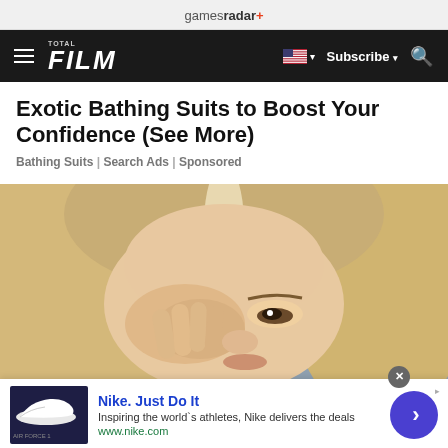gamesradar+
[Figure (screenshot): Total Film website navigation bar with hamburger menu, FILM logo, US flag dropdown, Subscribe button, and search icon on dark background]
Exotic Bathing Suits to Boost Your Confidence (See More)
Bathing Suits | Search Ads | Sponsored
[Figure (photo): Close-up photo of a blonde woman squinting/shielding her eye with her hand, blurred outdoor background]
[Figure (infographic): Advertisement banner: Nike. Just Do It - Inspiring the world's athletes, Nike delivers the deals - www.nike.com - with Nike shoe thumbnail and blue arrow CTA button]